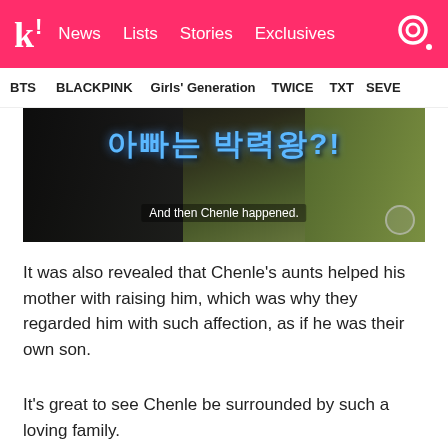k! News  Lists  Stories  Exclusives
BTS  BLACKPINK  Girls' Generation  TWICE  TXT  SEVE
[Figure (screenshot): Screenshot of a Korean TV show with Korean text '아빠는 박력왕?!' (Is Dad Charismatic?!) and subtitle 'And then Chenle happened.']
It was also revealed that Chenle's aunts helped his mother with raising him, which was why they regarded him with such affection, as if he was their own son.
It's great to see Chenle be surrounded by such a loving family.
[Figure (photo): Two people smiling, appears to be from a TV show or video.]